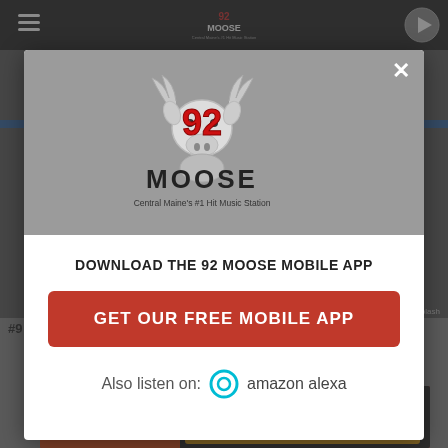[Figure (screenshot): 92 Moose radio station website screenshot with dark navigation bar at top, hamburger menu icon on left, play button on right, and 92 Moose logo centered in nav bar.]
[Figure (logo): 92 Moose radio station logo — cartoon moose character with 92 Moose text and tagline 'Central Maine's #1 Hit Music Station']
DOWNLOAD THE 92 MOOSE MOBILE APP
GET OUR FREE MOBILE APP
Also listen on:  amazon alexa
gustavo_zambelli/Unsplash
#9 - A
[Figure (photo): BitLife advertisement banner with cartoon fail animation characters and 'START A NEW LIFE' text on red background]